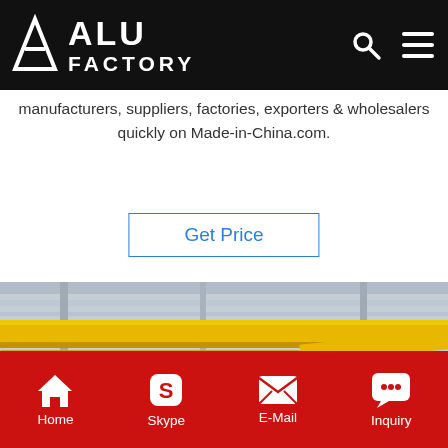ALU FACTORY
manufacturers, suppliers, factories, exporters & wholesalers quickly on Made-in-China.com.
Get Price
[Figure (photo): Industrial factory interior showing large aluminum coil rolls on the floor with yellow overhead crane beams visible in the background]
Home  Skype  E-Mail  Inquiry